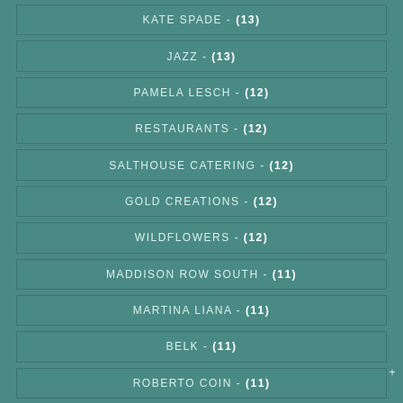KATE SPADE - (13)
JAZZ - (13)
PAMELA LESCH - (12)
RESTAURANTS - (12)
SALTHOUSE CATERING - (12)
GOLD CREATIONS - (12)
WILDFLOWERS - (12)
MADDISON ROW SOUTH - (11)
MARTINA LIANA - (11)
BELK - (11)
ROBERTO COIN - (11)